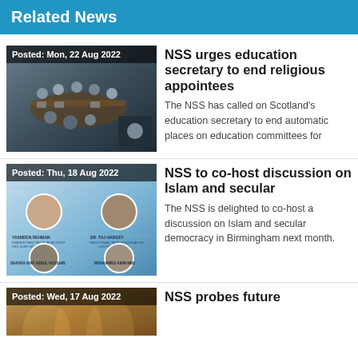Related News
[Figure (photo): Meeting room with people seated around a long table, with a smaller video call inset. Posted: Mon, 22 Aug 2022]
NSS urges education secretary to end religious appointees
The NSS has called on Scotland's education secretary to end automatic places on education committees for
[Figure (photo): Panel event graphic showing four speakers: Yasmeen Rehman, Dr. Taj Hargey, Shaykh Arif Abdul Hussain, Mohammed Amin MBE. Posted: Thu, 18 Aug 2022]
NSS to co-host discussion on Islam and secular
The NSS is delighted to co-host a discussion on Islam and secular democracy in Birmingham next month.
[Figure (photo): Decorative architectural image. Posted: Wed, 17 Aug 2022]
NSS probes future